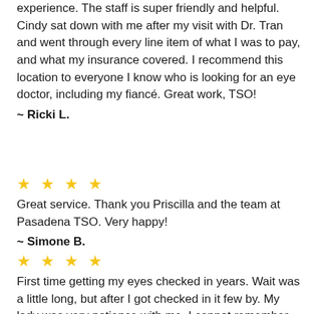experience. The staff is super friendly and helpful. Cindy sat down with me after my visit with Dr. Tran and went through every line item of what I was to pay, and what my insurance covered. I recommend this location to everyone I know who is looking for an eye doctor, including my fiancé. Great work, TSO!
~ Ricki L.
[Figure (other): 5 gold stars rating]
Great service. Thank you Priscilla and the team at Pasadena TSO. Very happy!
~ Simone B.
[Figure (other): 5 gold stars rating]
First time getting my eyes checked in years. Wait was a little long, but after I got checked in it few by. My lady was very patience with me. I cannot remember